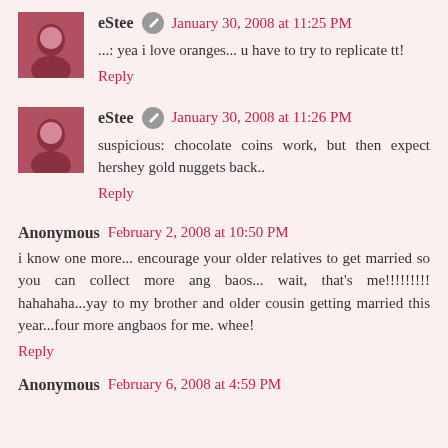eStee  January 30, 2008 at 11:25 PM
...: yea i love oranges... u have to try to replicate tt!
Reply
eStee  January 30, 2008 at 11:26 PM
suspicious: chocolate coins work, but then expect hershey gold nuggets back..
Reply
Anonymous  February 2, 2008 at 10:50 PM
i know one more... encourage your older relatives to get married so you can collect more ang baos... wait, that's me!!!!!!!!! hahahaha...yay to my brother and older cousin getting married this year...four more angbaos for me. whee!
Reply
Anonymous  February 6, 2008 at 4:59 PM